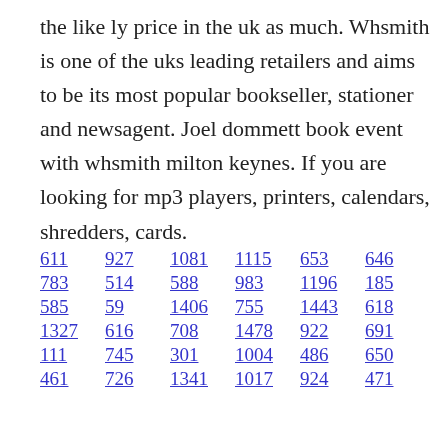the like ly price in the uk as much. Whsmith is one of the uks leading retailers and aims to be its most popular bookseller, stationer and newsagent. Joel dommett book event with whsmith milton keynes. If you are looking for mp3 players, printers, calendars, shredders, cards.
611  927  1081  1115  653  646
783  514  588  983  1196  185
585  59  1406  755  1443  618
1327  616  708  1478  922  691
111  745  301  1004  486  650
461  726  1341  1017  924  471